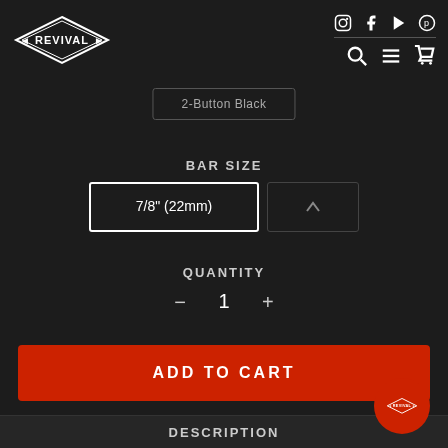[Figure (logo): Revival brand logo - diamond shaped emblem with REVIVAL text]
[Figure (infographic): Social media icons: Instagram, Facebook, YouTube, Pinterest; navigation icons: search, menu, cart]
2-Button Black
BAR SIZE
7/8" (22mm)
QUANTITY
− 1 +
ADD TO CART
DESCRIPTION
[Figure (logo): Revival logo on red circular button]